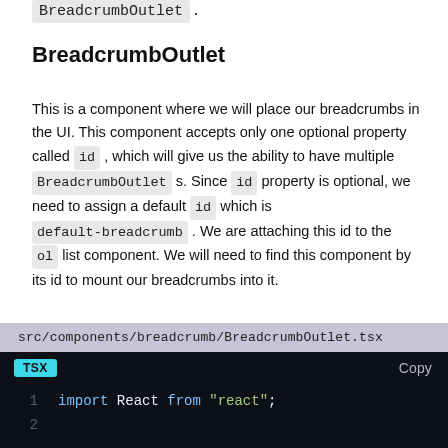BreadcrumbOutlet .
BreadcrumbOutlet
This is a component where we will place our breadcrumbs in the UI. This component accepts only one optional property called id , which will give us the ability to have multiple BreadcrumbOutlet s. Since id property is optional, we need to assign a default id which is default-breadcrumb . We are attaching this id to the ol list component. We will need to find this component by its id to mount our breadcrumbs into it.
[Figure (screenshot): Code block showing file path src/components/breadcrumb/BreadcrumbOutlet.tsx and TSX code: line 1: import React from "react"; line 2: (empty)]